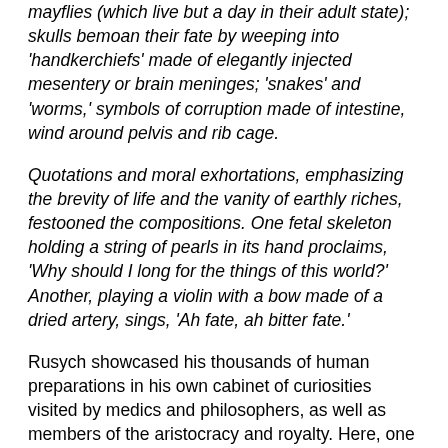mayflies (which live but a day in their adult state); skulls bemoan their fate by weeping into 'handkerchiefs' made of elegantly injected mesentery or brain meninges; 'snakes' and 'worms,' symbols of corruption made of intestine, wind around pelvis and rib cage.
Quotations and moral exhortations, emphasizing the brevity of life and the vanity of earthly riches, festooned the compositions. One fetal skeleton holding a string of pearls in its hand proclaims, 'Why should I long for the things of this world?' Another, playing a violin with a bow made of a dried artery, sings, 'Ah fate, ah bitter fate.'
Rusych showcased his thousands of human preparations in his own cabinet of curiosities visited by medics and philosophers, as well as members of the aristocracy and royalty. Here, one could see not only his fantastic tableaux, but also his injected preparations, various